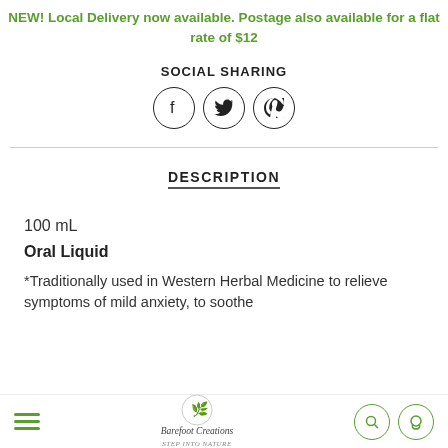NEW! Local Delivery now available. Postage also available for a flat rate of $12
SOCIAL SHARING
[Figure (other): Social sharing icons: Facebook, Twitter, Pinterest in circles]
DESCRIPTION
100 mL
Oral Liquid
*Traditionally used in Western Herbal Medicine to relieve symptoms of mild anxiety, to soothe
[Figure (logo): Barefoot Creations logo with footprint and tagline Step Into Nature, with hamburger menu, search icon and cart icon]